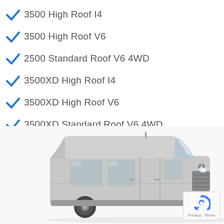3500 High Roof I4
3500 High Roof V6
2500 Standard Roof V6 4WD
3500XD High Roof I4
3500XD High Roof V6
3500XD Standard Roof V6 4WD
2500 High Roof V6 4WD
3500XD High Roof V6 4WD
[Figure (photo): Silver Mercedes-Benz Sprinter van with high roof, photographed from the front-left angle on a white background.]